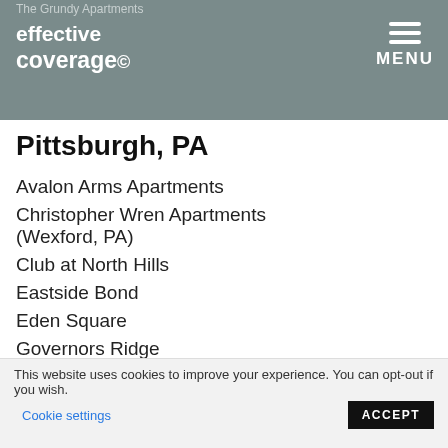The Grundy Apartments
[Figure (logo): Effective Coverage logo in white text on grey header background]
Pittsburgh, PA
Avalon Arms Apartments
Christopher Wren Apartments (Wexford, PA)
Club at North Hills
Eastside Bond
Eden Square
Governors Ridge
Highlands of Montour Run
This website uses cookies to improve your experience. You can opt-out if you wish. Cookie settings ACCEPT